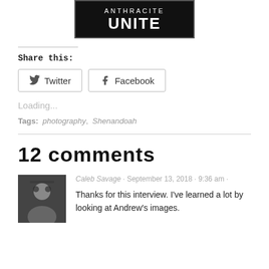[Figure (logo): Anthracite Unite logo — black background with white text reading ANTHRACITE UNITE]
Share this:
Twitter  Facebook
Loading...
Tags:  photography,  Shenandoah
12 comments
Caleb Savage · September 13, 2018 · 9:36 am ·
Thanks for this interview. I've learned a lot by looking at Andrew's images.